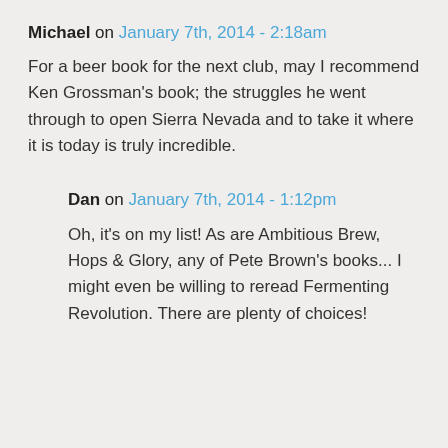Michael on January 7th, 2014 - 2:18am
For a beer book for the next club, may I recommend Ken Grossman's book; the struggles he went through to open Sierra Nevada and to take it where it is today is truly incredible.
Dan on January 7th, 2014 - 1:12pm
Oh, it's on my list! As are Ambitious Brew, Hops & Glory, any of Pete Brown's books... I might even be willing to reread Fermenting Revolution. There are plenty of choices!